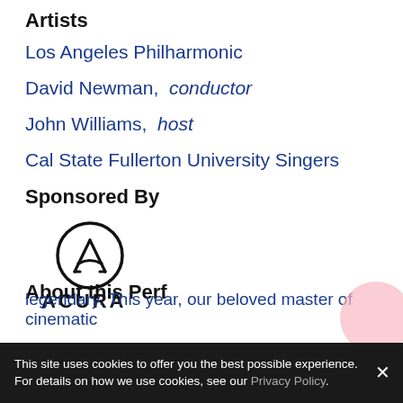Artists
Los Angeles Philharmonic
David Newman, conductor
John Williams, host
Cal State Fullerton University Singers
Sponsored By
[Figure (logo): Acura logo — circular emblem with stylized A, text ACURA below in bold black letters]
About this Perf
legendary. This year, our beloved master of cinematic
This site uses cookies to offer you the best possible experience. For details on how we use cookies, see our Privacy Policy.